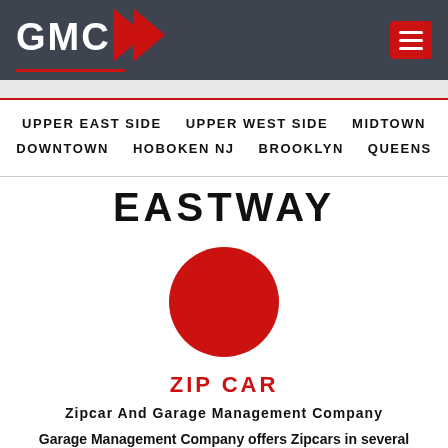GMC | Navigation menu
UPPER EAST SIDE
UPPER WEST SIDE
MIDTOWN
DOWNTOWN
HOBOKEN NJ
BROOKLYN
QUEENS
EASTWAY
[Figure (illustration): Red circle logo/icon for Zipcar]
ZIP CAR
Zipcar And Garage Management Company
Garage Management Company offers Zipcars in several of their